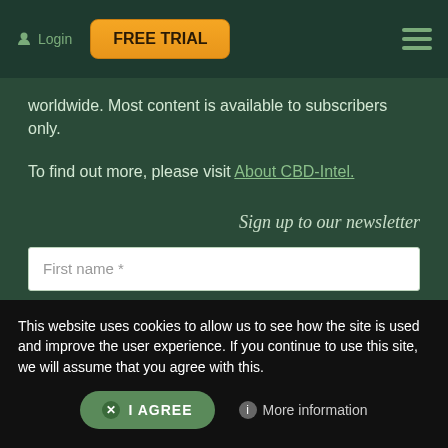Login  FREE TRIAL
worldwide. Most content is available to subscribers only.
To find out more, please visit About CBD-Intel.
Sign up to our newsletter
[Figure (screenshot): Newsletter signup form with fields: First name *, Last name *, Email *, and a SEND button]
This website uses cookies to allow us to see how the site is used and improve the user experience. If you continue to use this site, we will assume that you agree with this.
I AGREE   More information